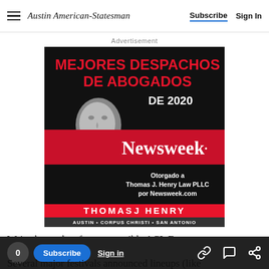Austin American-Statesman — Subscribe | Sign In
Advertisement
[Figure (illustration): Thomas J. Henry Law PLLC advertisement. Black and white portrait of a man in a suit. Red and black background. Text reads: MEJORES DESPACHOS DE ABOGADOS DE 2020. Newsweek. Otorgado a Thomas J. Henry Law PLLC por Newsweek.com. THOMAS J HENRY. AUSTIN • CORPUS CHRISTI • SAN ANTONIO]
We've kept tabs of many possible ACL Fest acts
Several major festivals announced lineups (like